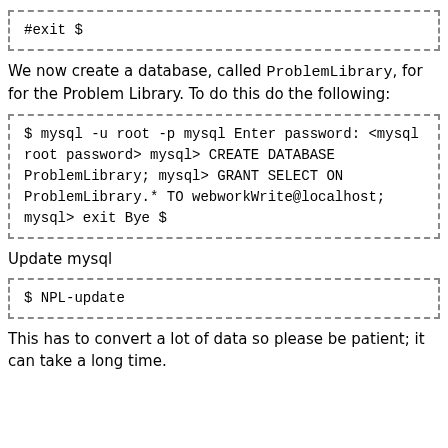#exit
$
We now create a database, called ProblemLibrary, for for the Problem Library. To do this do the following:
$ mysql -u root -p mysql
Enter password: <mysql root password>
mysql> CREATE DATABASE ProblemLibrary;
mysql> GRANT SELECT ON ProblemLibrary.* TO webworkWrite@localhost;
mysql> exit
Bye
$
Update mysql
$ NPL-update
This has to convert a lot of data so please be patient; it can take a long time.